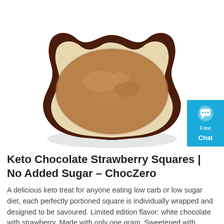[Figure (photo): A dark brown scalloped ceramic bowl/dish containing light brown cocoa or chocolate powder, photographed from a slightly elevated angle on a white background.]
[Figure (infographic): Blue chat widget button partially visible on the right edge, showing a speech bubble icon, and text 'Free Chat'.]
Keto Chocolate Strawberry Squares | No Added Sugar – ChocZero
A delicious keto treat for anyone eating low carb or low sugar diet, each perfectly portioned square is individually wrapped and designed to be savoured. Limited edition flavor: white chocolate with strawberry. Made with only one gram. Sweetened with